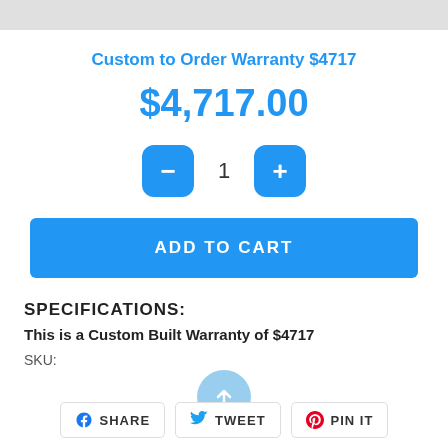[Figure (screenshot): Gray horizontal bar at the top of the page, representing a website header image area]
Custom to Order Warranty $4717
$4,717.00
[Figure (infographic): Quantity selector with minus button, number 1, and plus button]
ADD TO CART
SPECIFICATIONS:
This is a Custom Built Warranty of $4717
SKU:
[Figure (infographic): Scroll-to-top button, a teal circular button with an upward arrow]
SHARE   TWEET   PIN IT